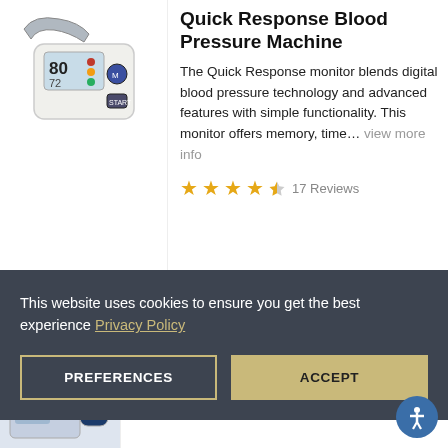[Figure (photo): Blood pressure machine device photo, arm cuff monitor showing digital display with reading 80/72]
Quick Response Blood Pressure Machine
The Quick Response monitor blends digital blood pressure technology and advanced features with simple functionality. This monitor offers memory, time… view more info
★★★★½ 17 Reviews
This website uses cookies to ensure you get the best experience Privacy Policy
PREFERENCES
ACCEPT
[Figure (photo): Partial view of a second blood pressure product, Professional Blood pressure device]
Professional Blood